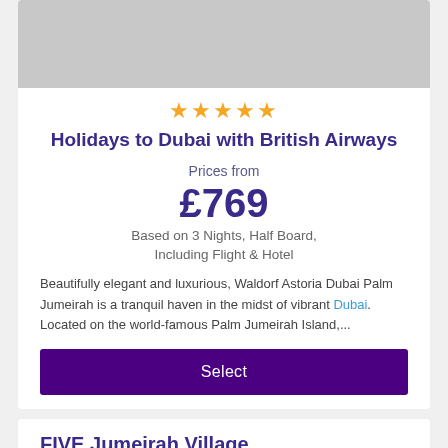[Figure (photo): Hotel property image placeholder (gray background)]
★★★★★
Holidays to Dubai with British Airways
Prices from
£769
Based on 3 Nights, Half Board, Including Flight & Hotel
Beautifully elegant and luxurious, Waldorf Astoria Dubai Palm Jumeirah is a tranquil haven in the midst of vibrant Dubai. Located on the world-famous Palm Jumeirah Island,...
Select
FIVE Jumeirah Village